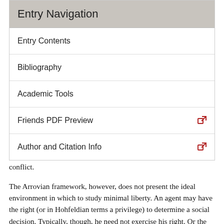Entry Navigation
Entry Contents
Bibliography
Academic Tools
Friends PDF Preview
Author and Citation Info
proved that one could not construct a social preference that satisfied all three axioms; the Pareto criterion and minimal liberty conflict.
The Arrovian framework, however, does not present the ideal environment in which to study minimal liberty. An agent may have the right (or in Hohfeldian terms a privilege) to determine a social decision. Typically, though, he need not exercise his right. Or the agent may be willing to trade or waive his right in exchange for some benefit. Gibbard [1974] argued that the power to